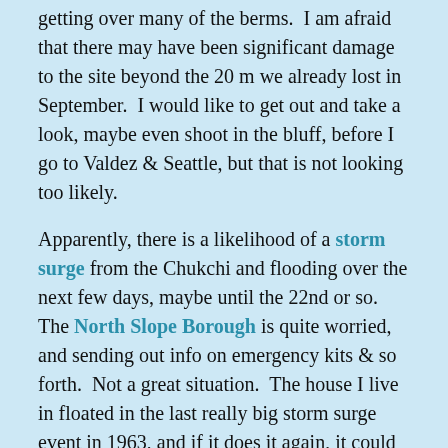getting over many of the berms.  I am afraid that there may have been significant damage to the site beyond the 20 m we already lost in September.  I would like to get out and take a look, maybe even shoot in the bluff, before I go to Valdez & Seattle, but that is not looking too likely.
Apparently, there is a likelihood of a storm surge from the Chukchi and flooding over the next few days, maybe until the 22nd or so.  The North Slope Borough is quite worried, and sending out info on emergency kits & so forth.  Not a great situation.  The house I live in floated in the last really big storm surge event in 1963, and if it does it again, it could wind up in the NARL sewage lagoon.  Yuck.
We'll be prepared, but I don't think it is that likely to get that bad.  However, it most certainly is already damaging Nuuk more.  It has been blowing from